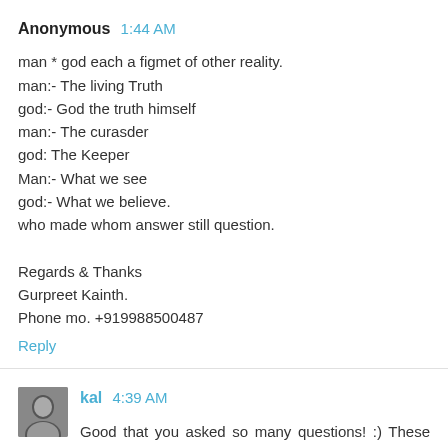Anonymous 1:44 AM
man * god each a figmet of other reality.
man:- The living Truth
god:- God the truth himself
man:- The curasder
god: The Keeper
Man:- What we see
god:- What we believe.
who made whom answer still question.

Regards & Thanks
Gurpreet Kainth.
Phone mo. +919988500487
Reply
kal 4:39 AM
Good that you asked so many questions! :) These are the kind of questions to which you will find answers within yourself upon more thinking. As for the question "why do